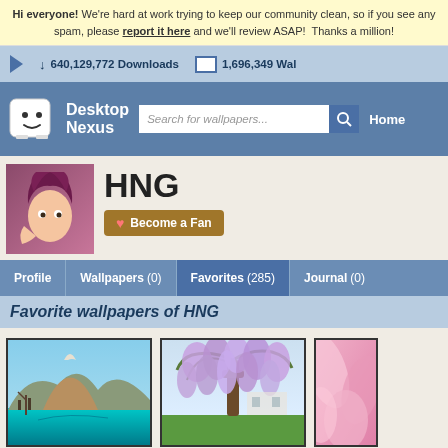Hi everyone! We're hard at work trying to keep our community clean, so if you see any spam, please report it here and we'll review ASAP! Thanks a million!
640,129,772 Downloads   1,696,349 Wallpapers
[Figure (screenshot): Desktop Nexus website header with logo, search bar, and Home navigation link]
[Figure (photo): Profile avatar photo of HNG user with purple/red hair]
HNG
Become a Fan
Profile   Wallpapers (0)   Favorites (285)   Journal (0)
Favorite wallpapers of HNG
[Figure (photo): Mountain landscape with turquoise lake]
[Figure (photo): Wisteria tree with purple flowers drooping]
[Figure (photo): Pink floral close-up, partially visible]
[Figure (photo): Bottom row - dark landscape thumbnail, partially visible]
[Figure (photo): Bottom row - colorful abstract/graphic thumbnail, partially visible]
[Figure (photo): Bottom row - geometric/striped pattern thumbnail, partially visible]